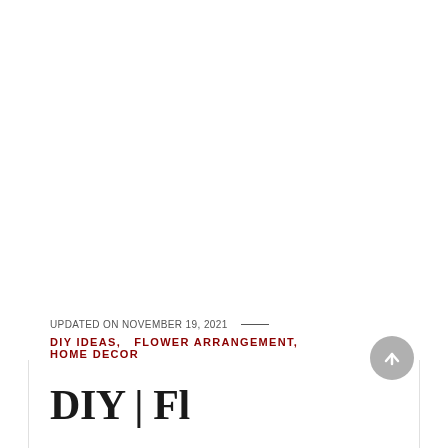[Figure (photo): Large white/blank image area at top of page (image content not visible)]
UPDATED ON NOVEMBER 19, 2021 —
DIY IDEAS,  FLOWER ARRANGEMENT,  HOME DECOR
DIY | Fl…